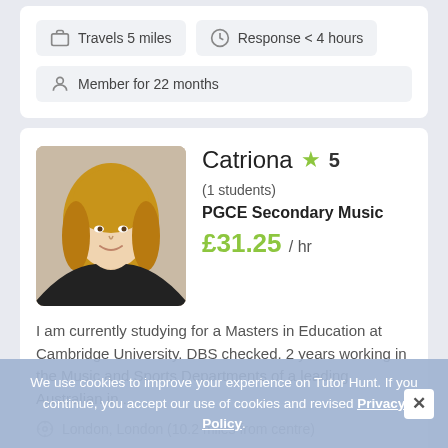Travels 5 miles
Response < 4 hours
Member for 22 months
Catriona ★ 5 (1 students)
PGCE Secondary Music
£31.25 / hr
I am currently studying for a Masters in Education at Cambridge University. DBS checked. 2 years working in the Music and Sports Departments of a leading Australian in...
London, London (10.2 miles from centre)
3 Repeat Students
65 Hours Taught
We use cookies to improve your experience on Tutor Hunt. If you continue, you accept our use of cookies and revised Privacy Policy.